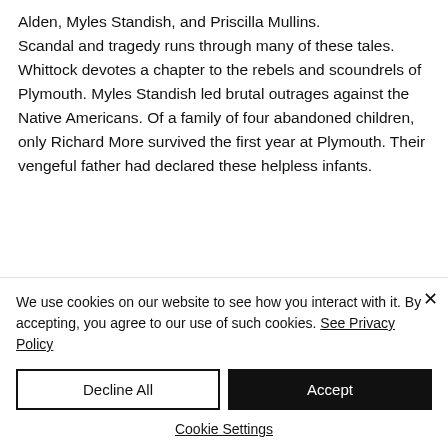Alden, Myles Standish, and Priscilla Mullins. Scandal and tragedy runs through many of these tales. Whittock devotes a chapter to the rebels and scoundrels of Plymouth. Myles Standish led brutal outrages against the Native Americans. Of a family of four abandoned children, only Richard More survived the first year at Plymouth. Their vengeful father had declared these helpless infants.
We use cookies on our website to see how you interact with it. By accepting, you agree to our use of such cookies. See Privacy Policy
Decline All
Accept
Cookie Settings